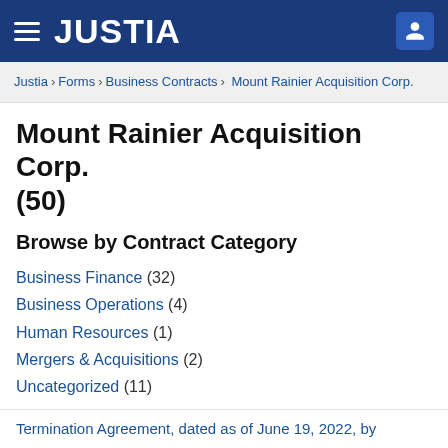JUSTIA
Justia › Forms › Business Contracts › Mount Rainier Acquisition Corp.
Mount Rainier Acquisition Corp. (50)
Browse by Contract Category
Business Finance (32)
Business Operations (4)
Human Resources (1)
Mergers & Acquisitions (2)
Uncategorized (11)
Contracts
Termination Agreement, dated as of June 19, 2022, by